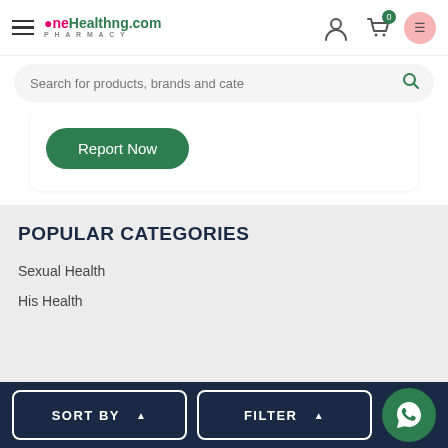OneHealthng.com PHARMACY
Search for products, brands and cate
Report Now
POPULAR CATEGORIES
Sexual Health
His Health
SORT BY  ▲  FILTER  ▲